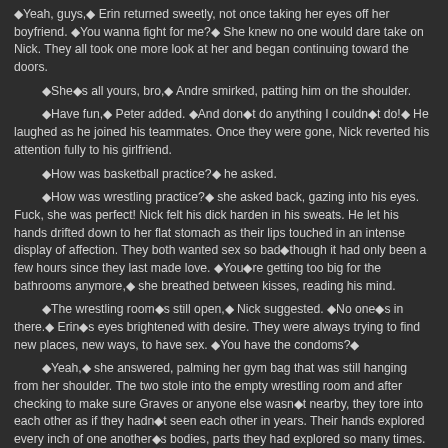Yeah, guys, Erin returned sweetly, not once taking her eyes off her boyfriend. You wanna fight for me? She knew no one would dare take on Nick. They all took one more look at her and began continuing toward the doors.
She s all yours, bro, Andre smirked, patting him on the shoulder.
Have fun, Peter added. And don t do anything I couldn t do! He laughed as he joined his teammates. Once they were gone, Nick reverted his attention fully to his girlfriend.
How was basketball practice? he asked.
How was wrestling practice? she asked back, gazing into his eyes. Fuck, she was perfect! Nick felt his dick harden in his sweats. He let his hands drifted down to her flat stomach as their lips touched in an intense display of affection. They both wanted sex so bad though it had only been a few hours since they last made love. You re getting too big for the bathrooms anymore, she breathed between kisses, reading his mind.
The wrestling room s still open, Nick suggested. No one s in there. Erin s eyes brightened with desire. They were always trying to find new places, new ways, to have sex. You have the condoms?
Yeah, she answered, palming her gym bag that was still hanging from her shoulder. The two stole into the empty wrestling room and after checking to make sure Graves or anyone else wasn t nearby, they tore into each other as if they hadn t seen each other in years. Their hands explored every inch of one another s bodies, parts they had explored so many times. But it never got old for either of them. Nick s shirt was already off, his sweatpants down to his knees by the time Erin fumbled the XXL condom onto his throbbing cock. Meanwhile, Nick stripped his girlfriend s shirt and sports bra, discarding them lustfully to the floor. Her breasts flopped against his hard pecs, her nipples hitting his pecs, sending him shuddering. Instantly, their lips met again, their